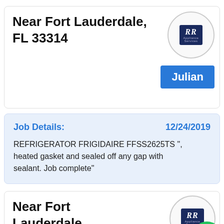Near Fort Lauderdale, FL 33314
[Figure (logo): RR Appliance Services logo in dark blue, inside a light gray circle]
Julian
Job Details:
12/24/2019
REFRIGERATOR FRIGIDAIRE FFSS2625TS ", heated gasket and sealed off any gap with sealant. Job complete"
Near Fort Lauderdale,
[Figure (logo): RR Appliance Services logo in dark blue, inside a light gray circle]
[Figure (illustration): Green circular phone call button in bottom right corner]